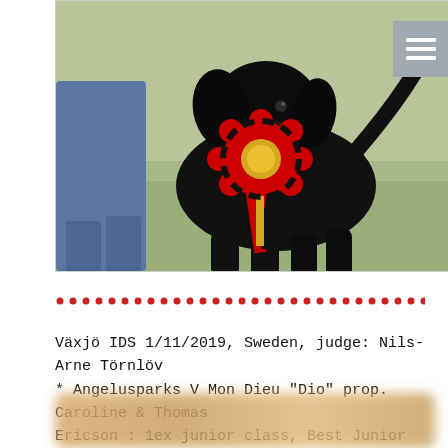[Figure (photo): A black flat-coated retriever dog holding a large red and gold rosette/ribbon award in its mouth, standing on grass. A person in blue jeans is partially visible beside the dog. A grey hamburger menu icon is visible in the top right corner.]
Växjö IDS 1/11/2019, Sweden, judge: Nils-Arne Törnlöv * Angelusparks V Mon Dieu "Dio" prop. Caroline & Thomas Ericson : 1ex junior class, Best Junior of Breed & RCC
[Figure (photo): Partially visible blurred image at bottom of page, appears to be another dog photo cropped/blurred.]